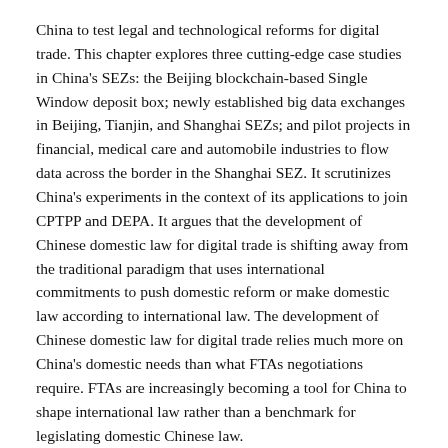China to test legal and technological reforms for digital trade. This chapter explores three cutting-edge case studies in China's SEZs: the Beijing blockchain-based Single Window deposit box; newly established big data exchanges in Beijing, Tianjin, and Shanghai SEZs; and pilot projects in financial, medical care and automobile industries to flow data across the border in the Shanghai SEZ. It scrutinizes China's experiments in the context of its applications to join CPTPP and DEPA. It argues that the development of Chinese domestic law for digital trade is shifting away from the traditional paradigm that uses international commitments to push domestic reform or make domestic law according to international law. The development of Chinese domestic law for digital trade relies much more on China's domestic needs than what FTAs negotiations require. FTAs are increasingly becoming a tool for China to shape international law rather than a benchmark for legislating domestic Chinese law.
Topic:
Development, Emerging International Trade and Fi...